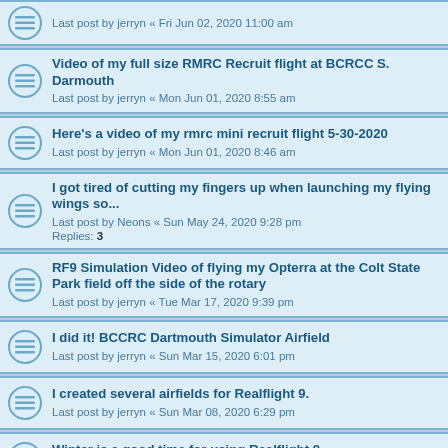Video of my full size RMRC Recruit flight at BCRCC S. Darmouth
Last post by jerryn « Mon Jun 01, 2020 8:55 am
Here's a video of my rmrc mini recruit flight 5-30-2020
Last post by jerryn « Mon Jun 01, 2020 8:46 am
I got tired of cutting my fingers up when launching my flying wings so...
Last post by Neons « Sun May 24, 2020 9:28 pm
Replies: 3
RF9 Simulation Video of flying my Opterra at the Colt State Park field off the side of the rotary
Last post by jerryn « Tue Mar 17, 2020 9:39 pm
I did it! BCCRC Dartmouth Simulator Airfield
Last post by jerryn « Sun Mar 15, 2020 6:01 pm
I created several airfields for Realflight 9.
Last post by jerryn « Sun Mar 08, 2020 6:29 pm
Winter is a good time for using Realflight 9
Last post by jerryn « Sun Mar 01, 2020 5:45 pm
2-2020 A Compilation of videos Posted in Vimeo - Club Related
Last post by Neons « Tue Feb 04, 2020 10:51 am
Here is a 9lb. 1/4 scale E-powered F4U Corsair - Amazing work